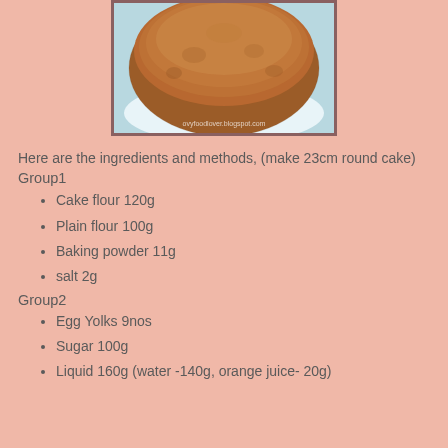[Figure (photo): A round brown cake on a white plate, viewed from above. Watermark reads ovyfoodlover.blogspot.com]
Here are the ingredients and methods, (make 23cm round cake)
Group1
Cake flour 120g
Plain flour 100g
Baking powder 11g
salt 2g
Group2
Egg Yolks 9nos
Sugar 100g
Liquid 160g (water -140g, orange juice- 20g)